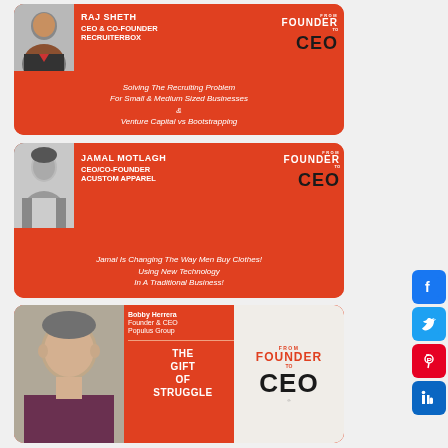[Figure (infographic): Podcast card for Raj Sheth, CEO & Co-Founder of Recruiterbox. Orange background with photo, name, title, episode description about recruiting and venture capital vs bootstrapping, and From Founder to CEO logo.]
[Figure (infographic): Podcast card for Jamal Motlagh, CEO/Co-Founder of Acustom Apparel. Orange background with black-and-white photo, name, title, episode description about changing the way men buy clothes using new technology in a traditional business, and From Founder to CEO logo.]
[Figure (infographic): Podcast card for Bobby Herrera, Founder & CEO of Populus Group. Split layout with color photo, orange section with name and 'The Gift of Struggle' episode title, and white section with From Founder to CEO logo.]
[Figure (infographic): Social media sharing icons panel on the right side: Facebook (blue), Twitter (light blue), Pinterest (red), LinkedIn (blue).]